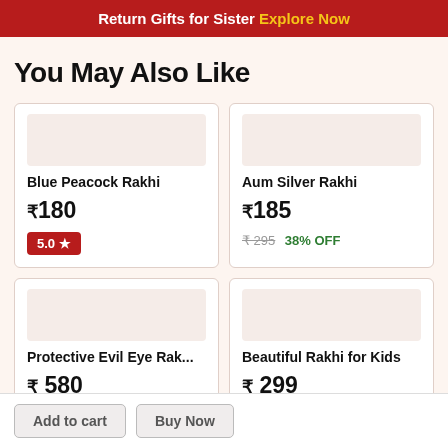Return Gifts for Sister Explore Now
You May Also Like
Blue Peacock Rakhi
₹180
5.0 ★
Aum Silver Rakhi
₹185
₹295 38% OFF
Protective Evil Eye Rak...
₹ 580
Beautiful Rakhi for Kids
₹ 299
Add to cart   Buy Now